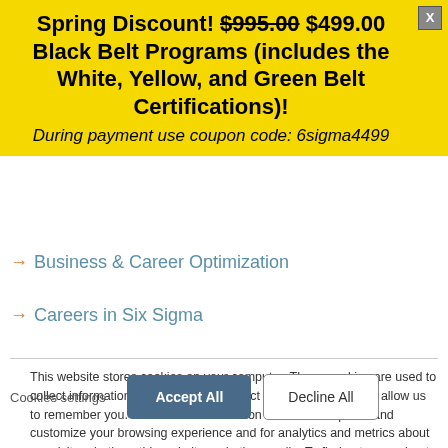Spring Discount! $995.00 $499.00 Black Belt Programs (includes the White, Yellow, and Green Belt Certifications)!
During payment use coupon code: 6sigma4499
Business & Career Optimization
Careers in Six Sigma
This website stores cookies on your computer. These cookies are used to collect information about how you interact with our website and allow us to remember you. We use this information in order to improve and customize your browsing experience and for analytics and metrics about our visitors both on this website and other media. To find out more about the cookies we use, see our Privacy Policy
If you decline, your information won’t be tracked when you visit this website. A single cookie will be used in your browser to remember your preference not to be tracked.
Cookies settings | Accept All | Decline All